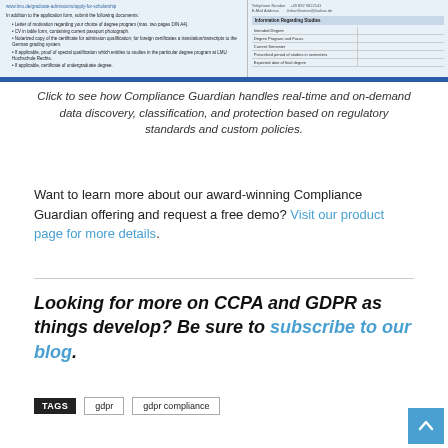[Figure (screenshot): Screenshot of a form page showing a URL link, bullet list of required documents on the left, and a table of 'Information Regarding Studies' fields on the right including Intended Degree, Degree Program and Focus, Current Semester, Prescribed period of studies in semesters, Expected date of final degree. Navigation bar at bottom.]
Click to see how Compliance Guardian handles real-time and on-demand data discovery, classification, and protection based on regulatory standards and custom policies.
Want to learn more about our award-winning Compliance Guardian offering and request a free demo? Visit our product page for more details.
Looking for more on CCPA and GDPR as things develop? Be sure to subscribe to our blog.
TAGS  gdpr  gdpr compliance